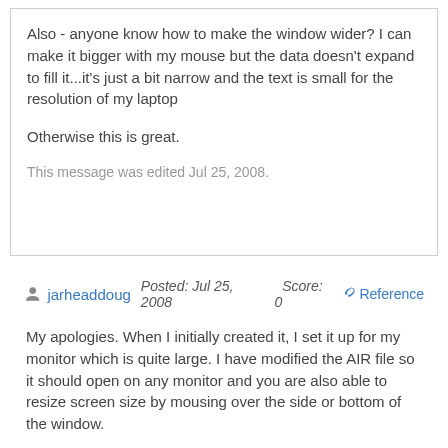Also - anyone know how to make the window wider? I can make it bigger with my mouse but the data doesn't expand to fill it...it's just a bit narrow and the text is small for the resolution of my laptop
Otherwise this is great.
This message was edited Jul 25, 2008.
jarheaddoug  Posted: Jul 25, 2008  Score: 0  Reference
My apologies. When I initially created it, I set it up for my monitor which is quite large. I have modified the AIR file so it should open on any monitor and you are also able to resize screen size by mousing over the side or bottom of the window.
[Figure (illustration): Broken image placeholder (small green/white icon)]
Toodledo AIR app
@Qrystal - not sure about the blank screen issue. Do you have a default view setup in your Toodledo settings? I use it